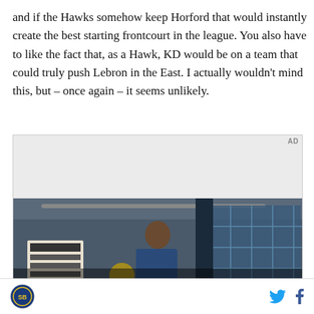and if the Hawks somehow keep Horford that would instantly create the best starting frontcourt in the league. You also have to like the fact that, as a Hawk, KD would be on a team that could truly push Lebron in the East. I actually wouldn't mind this, but – once again – it seems unlikely.
[Figure (other): Advertisement placeholder with gray background and AD label, followed by a video thumbnail showing a young man in a denim jacket standing in front of a glass building, with text overlay 'Unfold your world' and a play button]
Site logo icon | Twitter icon | Facebook icon